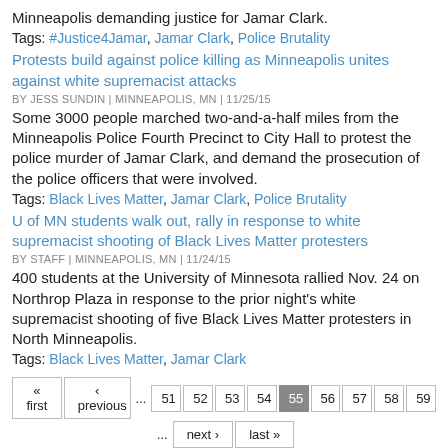Minneapolis demanding justice for Jamar Clark.
Tags: #Justice4Jamar, Jamar Clark, Police Brutality
Protests build against police killing as Minneapolis unites against white supremacist attacks
BY JESS SUNDIN | MINNEAPOLIS, MN | 11/25/15
Some 3000 people marched two-and-a-half miles from the Minneapolis Police Fourth Precinct to City Hall to protest the police murder of Jamar Clark, and demand the prosecution of the police officers that were involved.
Tags: Black Lives Matter, Jamar Clark, Police Brutality
U of MN students walk out, rally in response to white supremacist shooting of Black Lives Matter protesters
BY STAFF | MINNEAPOLIS, MN | 11/24/15
400 students at the University of Minnesota rallied Nov. 24 on Northrop Plaza in response to the prior night's white supremacist shooting of five Black Lives Matter protesters in North Minneapolis.
Tags: Black Lives Matter, Jamar Clark
Pagination: « first ‹ previous ... 51 52 53 54 55 56 57 58 59 ... next › last »